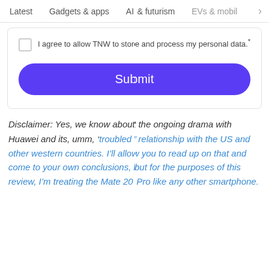Latest   Gadgets & apps   AI & futurism   EVs & mobil  >
I agree to allow TNW to store and process my personal data.*
Submit
Disclaimer: Yes, we know about the ongoing drama with Huawei and its, umm, ‘troubled’ relationship with the US and other western countries. I’ll allow you to read up on that and come to your own conclusions, but for the purposes of this review, I’m treating the Mate 20 Pro like any other smartphone.